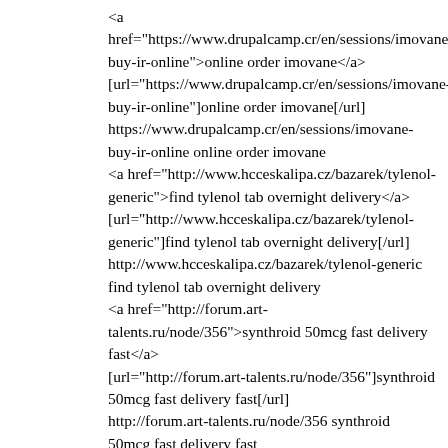<a href="https://www.drupalcamp.cr/en/sessions/imovane-buy-ir-online">online order imovane</a> [url="https://www.drupalcamp.cr/en/sessions/imovane-buy-ir-online"]online order imovane[/url] https://www.drupalcamp.cr/en/sessions/imovane-buy-ir-online online order imovane <a href="http://www.hcceskalipa.cz/bazarek/tylenol-generic">find tylenol tab overnight delivery</a> [url="http://www.hcceskalipa.cz/bazarek/tylenol-generic"]find tylenol tab overnight delivery[/url] http://www.hcceskalipa.cz/bazarek/tylenol-generic find tylenol tab overnight delivery <a href="http://forum.art-talents.ru/node/356">synthroid 50mcg fast delivery fast</a> [url="http://forum.art-talents.ru/node/356"]synthroid 50mcg fast delivery fast[/url] http://forum.art-talents.ru/node/356 synthroid 50mcg fast delivery fast <a href="https://diaslovakia.sk/content/ambien-price-chicago">ambien buy cheap</a> [url="https://diaslovakia.sk/content/ambien-price-chicago"]ambien buy cheap[/url] https://diaslovakia.sk/content/ambien-price-chicago